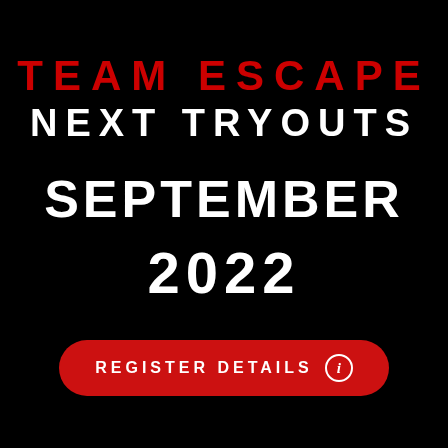TEAM ESCAPE
NEXT TRYOUTS
SEPTEMBER
2022
REGISTER DETAILS ℹ